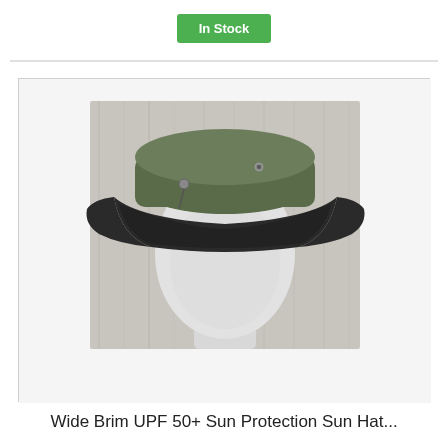In Stock
[Figure (photo): A wide brim sun hat displayed on a white mannequin head. The hat is olive/dark green with a black brim, photographed against a grey wooden background.]
Wide Brim UPF 50+ Sun Protection Sun Hat...